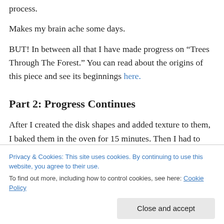process.
Makes my brain ache some days.
BUT! In between all that I have made progress on “Trees Through The Forest.” You can read about the origins of this piece and see its beginnings here.
Part 2: Progress Continues
After I created the disk shapes and added texture to them, I baked them in the oven for 15 minutes. Then I had to
Privacy & Cookies: This site uses cookies. By continuing to use this website, you agree to their use.
To find out more, including how to control cookies, see here: Cookie Policy